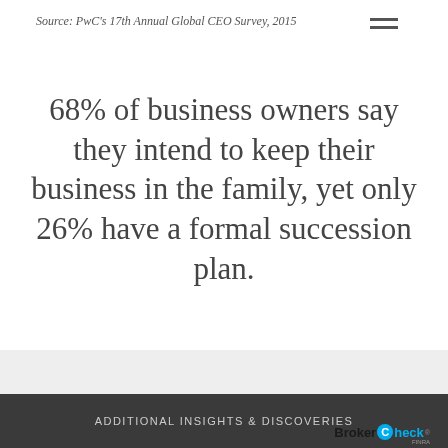Source: PwC's 17th Annual Global CEO Survey, 2015
68% of business owners say they intend to keep their business in the family, yet only 26% have a formal succession plan.
Source: Deloitte's 2019 global family business survey
ADDITIONAL INSIGHTS & DISCOVERIES  BrokerCheck